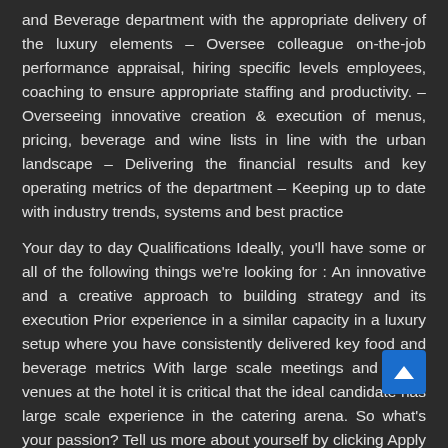and Beverage department with the appropriate delivery of the luxury elements – Oversee colleague on-the-job performance appraisal, hiring specific levels employees, coaching to ensure appropriate staffing and productivity. – Overseeing innovative creation & execution of menus, pricing, beverage and wine lists in line with the urban landscape – Delivering the financial results and key operating metrics of the department – Keeping up to date with industry trends, systems and best practice
Your day to day Qualifications Ideally, you'll have some or all of the following things we're looking for : An innovative and a creative approach to building strategy and its execution Prior experience in a similar capacity in a luxury setup where you have consistently delivered key food and beverage metrics With large scale meetings and social venues at the hotel it is critical that the ideal candidate has large scale experience in the catering arena. So what's your passion? Tell us more about yourself by clicking Apply Online now !
What we need from you preferred : Candidate needs to